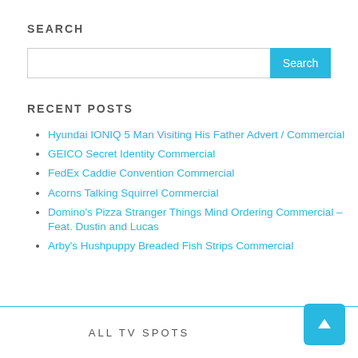SEARCH
[Figure (other): Search input box with cyan Search button]
RECENT POSTS
Hyundai IONIQ 5 Man Visiting His Father Advert / Commercial
GEICO Secret Identity Commercial
FedEx Caddie Convention Commercial
Acorns Talking Squirrel Commercial
Domino's Pizza Stranger Things Mind Ordering Commercial – Feat. Dustin and Lucas
Arby's Hushpuppy Breaded Fish Strips Commercial
ALL TV SPOTS